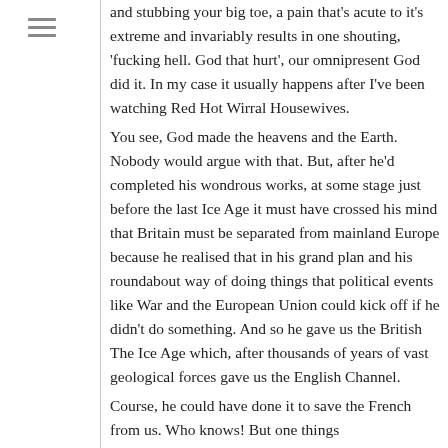and stubbing your big toe, a pain that's acute to it's extreme and invariably results in one shouting, 'fucking hell. God that hurt', our omnipresent God did it. In my case it usually happens after I've been watching Red Hot Wirral Housewives.
You see, God made the heavens and the Earth. Nobody would argue with that. But, after he'd completed his wondrous works, at some stage just before the last Ice Age it must have crossed his mind that Britain must be separated from mainland Europe because he realised that in his grand plan and his roundabout way of doing things that political events like War and the European Union could kick off if he didn't do something. And so he gave us the British The Ice Age which, after thousands of years of vast geological forces gave us the English Channel.
Course, he could have done it to save the French from us. Who knows! But one things